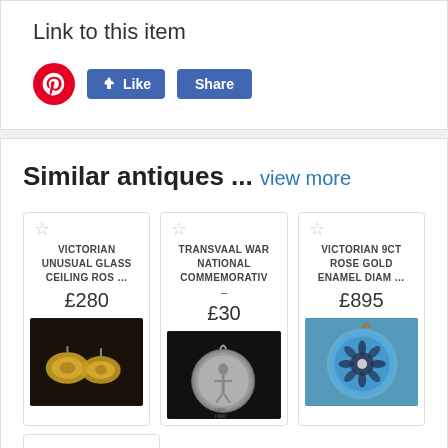Link to this item
[Figure (infographic): Pinterest icon button (red circle with P), Facebook Like button (blue), Facebook Share button (blue)]
Similar antiques ... view more
[Figure (photo): Victorian Unusual Glass Ceiling Ros... - £280 - photo of two gold glass ceiling rose items on dark background]
[Figure (photo): Transvaal War National Commemorativ - £30 - photo of silver commemorative medal with figure]
[Figure (photo): Victorian 9CT Rose Gold Enamel Diam... - £895 - photo of blue enamel circular pendant with floral design]